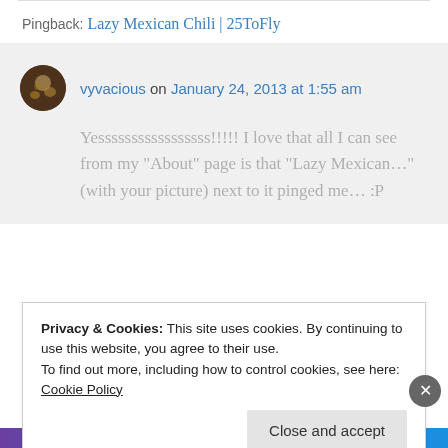Pingback: Lazy Mexican Chili | 25ToFly
vyvacious on January 24, 2013 at 1:55 am
Yesssssssssssssssss!!!!! I love that all I can see from my “About” page is that “Lazy Mexican…” (with your picture) next to it pinged me… :P
Privacy & Cookies: This site uses cookies. By continuing to use this website, you agree to their use.
To find out more, including how to control cookies, see here: Cookie Policy